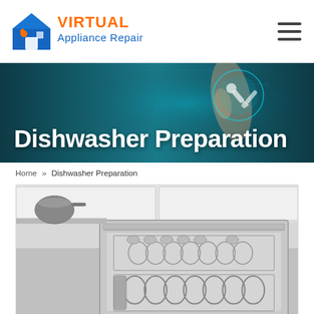[Figure (logo): Virtual Appliance Repair logo with house icon and text]
[Figure (photo): Hero banner with a hand touching a digital display, showing repair/tech icons, teal/dark background with text 'Dishwasher Preparation']
Dishwasher Preparation
Home » Dishwasher Preparation
[Figure (photo): Black and white photo of an open dishwasher loaded with dishes and utensils]